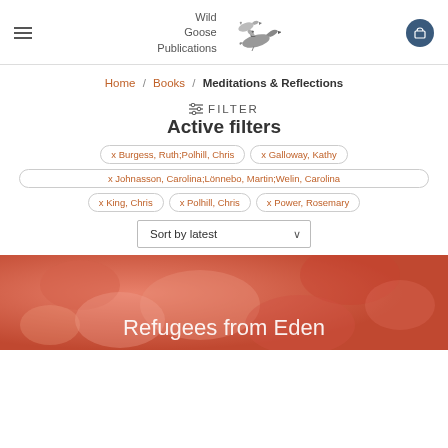[Figure (logo): Wild Goose Publications logo with flying geese illustration and text]
Home / Books / Meditations & Reflections
≡ FILTER
Active filters
x Burgess, Ruth;Polhill, Chris
x Galloway, Kathy
x Johnasson, Carolina;Lönnebo, Martin;Welin, Carolina
x King, Chris
x Polhill, Chris
x Power, Rosemary
Sort by latest
[Figure (photo): Bottom portion of a book cover with orange/terracotta textured background and white text reading 'Refugees from Eden']